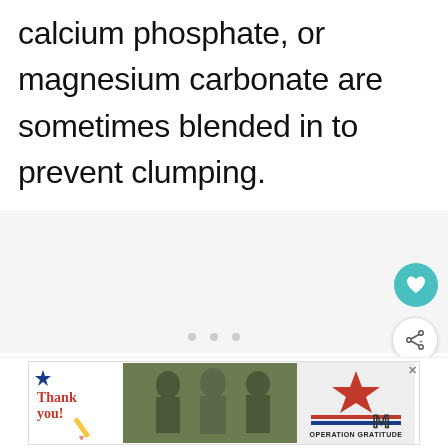calcium phosphate, or magnesium carbonate are sometimes blended in to prevent clumping.
[Figure (other): UI elements: heart/favorite button (teal circle with heart icon), share button (white circle with share icon), 'What's Next' thumbnail card with food image and text 'How to Get More...', loading dots]
[Figure (other): Advertisement banner: 'Thank you!' written in red cursive with a pencil graphic and American flag star, soldiers in camouflage photo, Operation Gratitude logo with star, Meredith logo]